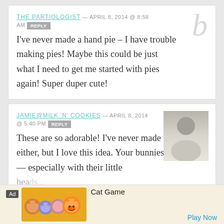THE PARTIOLOGIST — APRIL 8, 2014 @ 8:58 AM REPLY
I've never made a hand pie – I have trouble making pies! Maybe this could be just what I need to get me started with pies again! Super duper cute!
JAMIE@MILK 'N' COOKIES — APRIL 8, 2014 @ 5:40 PM REPLY
These are so adorable! I've never made hand pies, either, but I love this idea. Your bunnies are so cute — especially with their little heads...
[Figure (other): Advertisement banner for Cat Game with cartoon cat icons and Play Now button]